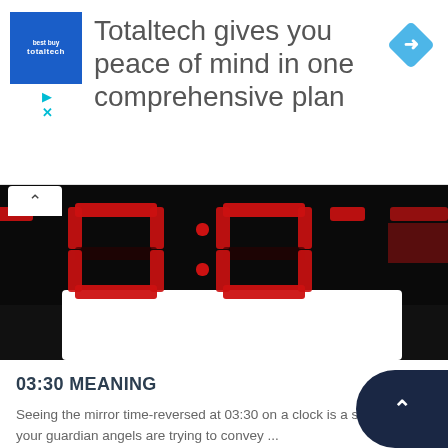[Figure (infographic): Advertisement banner for Totaltech featuring blue square logo, headline text, and teal diamond icon with right arrow]
[Figure (photo): Close-up of a digital clock display showing large red LED digits on black background, partially cropped]
03:30 MEANING
Seeing the mirror time-reversed at 03:30 on a clock is a sign that your guardian angels are trying to convey ...